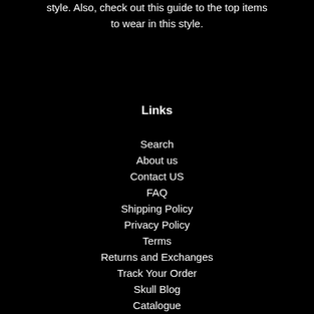style. Also, check out this guide to the top items to wear in this style.
Links
Search
About us
Contact US
FAQ
Shipping Policy
Privacy Policy
Terms
Returns and Exchanges
Track Your Order
Skull Blog
Catalogue
Terms of Service